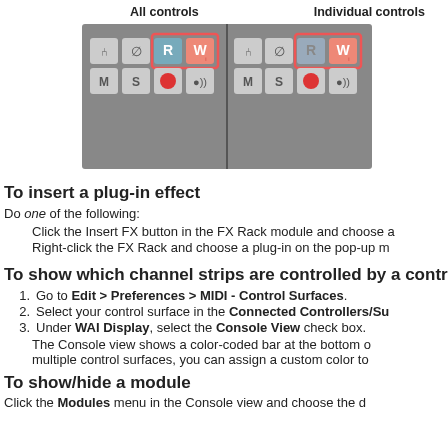All controls    Individual controls
[Figure (screenshot): Screenshot showing All controls and Individual controls panels with R and W buttons highlighted in red boxes, plus M, S, record and monitor buttons]
To insert a plug-in effect
Do one of the following:
Click the Insert FX button in the FX Rack module and choose a
Right-click the FX Rack and choose a plug-in on the pop-up m
To show which channel strips are controlled by a contr
Go to Edit > Preferences > MIDI - Control Surfaces.
Select your control surface in the Connected Controllers/Su
Under WAI Display, select the Console View check box.
The Console view shows a color-coded bar at the bottom of multiple control surfaces, you can assign a custom color to
To show/hide a module
Click the Modules menu in the Console view and choose the d